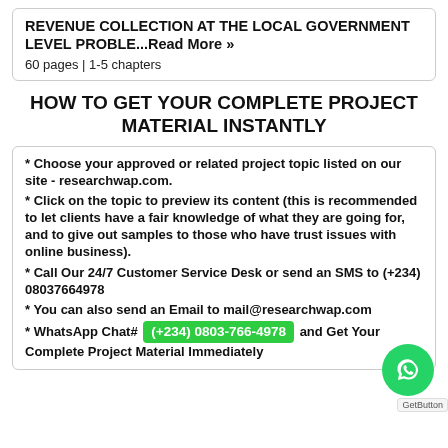REVENUE COLLECTION AT THE LOCAL GOVERNMENT LEVEL PROBLE...Read More »
60 pages | 1-5 chapters
HOW TO GET YOUR COMPLETE PROJECT MATERIAL INSTANTLY
* Choose your approved or related project topic listed on our site - researchwap.com.
* Click on the topic to preview its content (this is recommended to let clients have a fair knowledge of what they are going for, and to give out samples to those who have trust issues with online business).
* Call Our 24/7 Customer Service Desk or send an SMS to (+234) 08037664978
* You can also send an Email to mail@researchwap.com
* WhatsApp Chat# (+234) 0803-766-4978 and Get Your Complete Project Material Immediately